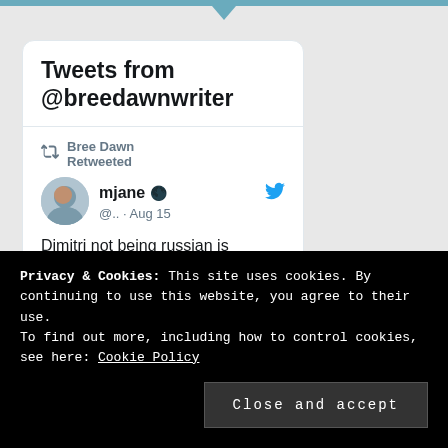Tweets from @breedawnwriter
Bree Dawn Retweeted
mjane @.. · Aug 15
Dimitri not being russian is
Privacy & Cookies: This site uses cookies. By continuing to use this website, you agree to their use.
To find out more, including how to control cookies, see here: Cookie Policy
Close and accept